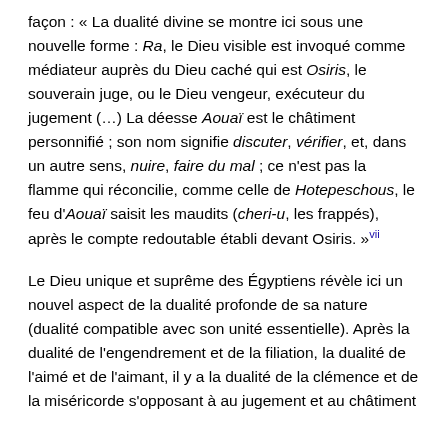façon : « La dualité divine se montre ici sous une nouvelle forme : Ra, le Dieu visible est invoqué comme médiateur auprès du Dieu caché qui est Osiris, le souverain juge, ou le Dieu vengeur, exécuteur du jugement (...) La déesse Aouaï est le châtiment personnifié ; son nom signifie discuter, vérifier, et, dans un autre sens, nuire, faire du mal ; ce n'est pas la flamme qui réconcilie, comme celle de Hotepeschous, le feu d'Aouaï saisit les maudits (cheri-u, les frappés), après le compte redoutable établi devant Osiris. »vii
Le Dieu unique et suprême des Égyptiens révèle ici un nouvel aspect de la dualité profonde de sa nature (dualité compatible avec son unité essentielle). Après la dualité de l'engendrement et de la filiation, la dualité de l'aimé et de l'aimant, il y a la dualité de la clémence et de la miséricorde s'opposant à au jugement et au châtiment